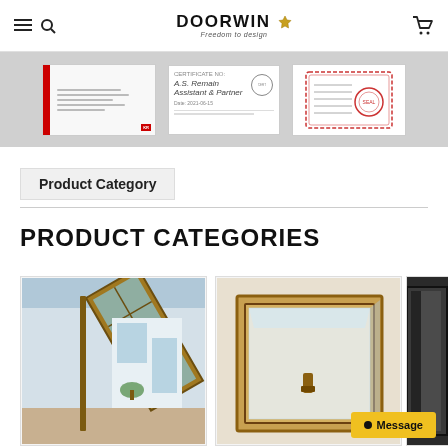DOORWIN - Freedom to design
[Figure (photo): Three certification documents displayed on a gray background strip]
Product Category
PRODUCT CATEGORIES
[Figure (photo): Wooden casement window open outward showing interior room]
[Figure (photo): Light wood framed tilt-and-turn window partially open]
[Figure (photo): Dark framed window partially visible at edge]